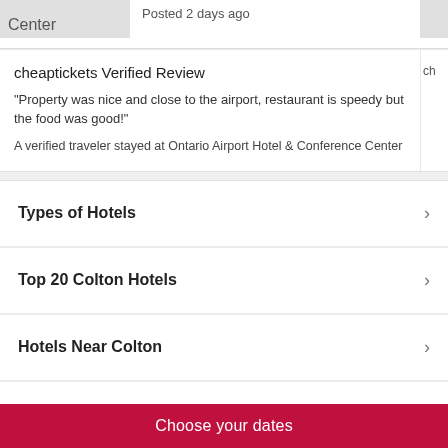Center
Posted 2 days ago
cheaptickets Verified Review
"Property was nice and close to the airport, restaurant is speedy but the food was good!"
A verified traveler stayed at Ontario Airport Hotel & Conference Center
Types of Hotels
Top 20 Colton Hotels
Hotels Near Colton
Top Hotel Brands
Choose your dates